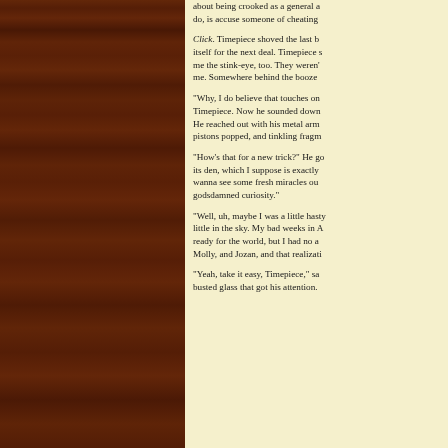[Figure (photo): Wood panel texture, dark reddish-brown wood grain filling the left portion of the page]
about being crooked as a general a... do, is accuse someone of cheating...
Click. Timepiece shoved the last b... itself for the next deal. Timepiece s... me the stink-eye, too. They weren'... me. Somewhere behind the booze...
"Why, I do believe that touches on ... Timepiece. Now he sounded down... He reached out with his metal arm... pistons popped, and tinkling fragm...
"How's that for a new trick?" He go... its den, which I suppose is exactly ... wanna see some fresh miracles ou... godsdamned curiosity."
"Well, uh, maybe I was a little hasty... little in the sky. My bad weeks in A... ready for the world, but I had no a... Molly, and Jozan, and that realizati...
"Yeah, take it easy, Timepiece," sa... busted glass that got his attention....